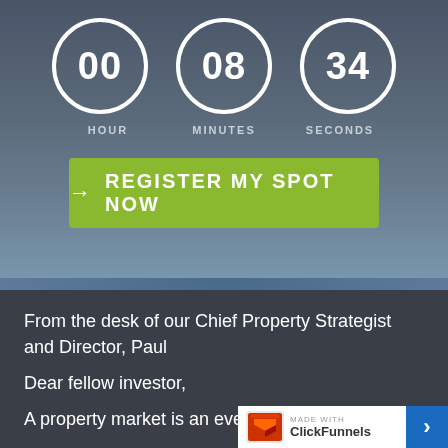[Figure (infographic): Countdown timer showing 00 HOUR, 08 MINUTES, 34 SECONDS displayed as three circles with white borders on dark background]
[Figure (infographic): Green call-to-action button with arrow and text REGISTER MY SPOT NOW]
From the desk of our Chief Property Strategist and Director, Paul
Dear fellow investor,
A property market is an ever-evolvi
[Figure (logo): ClickFunnels badge in bottom right corner with made with ClickFunnels text and blue arrow button]